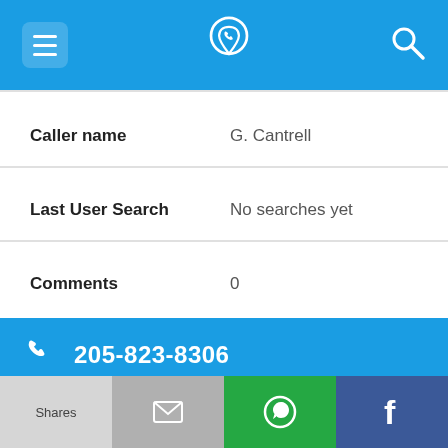App navigation bar with menu, phone/location icon, and search icon
Caller name: G. Cantrell
Last User Search: No searches yet
Comments: 0
205-823-8306
Alternate Form: 2058238306
Caller name: Ryoichi Kawai
Shares | (email) | (WhatsApp) | (Facebook)